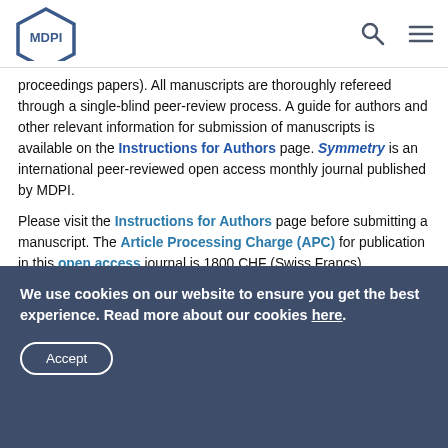MDPI
proceedings papers). All manuscripts are thoroughly refereed through a single-blind peer-review process. A guide for authors and other relevant information for submission of manuscripts is available on the Instructions for Authors page. Symmetry is an international peer-reviewed open access monthly journal published by MDPI.
Please visit the Instructions for Authors page before submitting a manuscript. The Article Processing Charge (APC) for publication in this open access journal is 1800 CHF (Swiss Francs). Submitted papers should be well formatted and use good English. Authors may use MDPI's English editing service prior to publication or during author revisions.
We use cookies on our website to ensure you get the best experience. Read more about our cookies here.
Accept